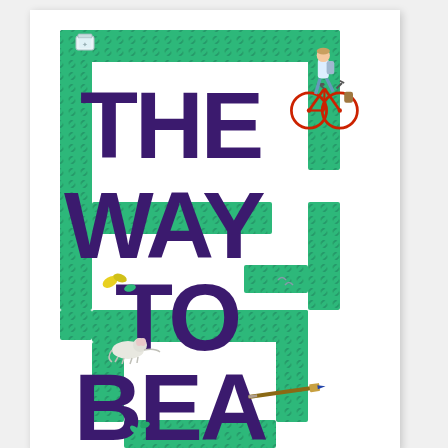[Figure (illustration): Book cover for 'The Way to Bea' featuring large bold purple text arranged vertically spelling THE / WAY / TO / BEA on a white background with teal/green maze-like border pattern made of leaf-textured green strips. Small illustrated elements include a boy with a red bicycle in the upper right, a small jar in the upper left area, yellow and green leaves, small birds, a white mouse/hamster, and a paintbrush. The maze forms a complex path framing the title text.]